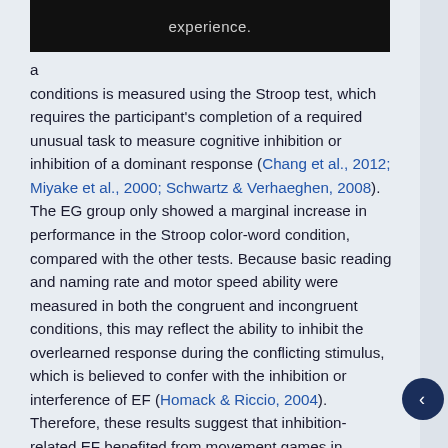experience.
a conditions is measured using the Stroop test, which requires the participant's completion of a required unusual task to measure cognitive inhibition or inhibition of a dominant response (Chang et al., 2012; Miyake et al., 2000; Schwartz & Verhaeghen, 2008). The EG group only showed a marginal increase in performance in the Stroop color-word condition, compared with the other tests. Because basic reading and naming rate and motor speed ability were measured in both the congruent and incongruent conditions, this may reflect the ability to inhibit the overlearned response during the conflicting stimulus, which is believed to confer with the inhibition or interference of EF (Homack & Riccio, 2004). Therefore, these results suggest that inhibition-related EF benefited from movement games in overweight children.